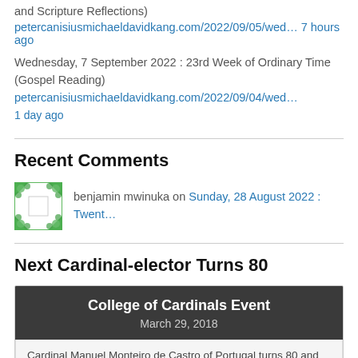and Scripture Reflections)
petercanisiusmichaeldavidkang.com/2022/09/05/wed… 7 hours ago
Wednesday, 7 September 2022 : 23rd Week of Ordinary Time (Gospel Reading) petercanisiusmichaeldavidkang.com/2022/09/04/wed… 1 day ago
Recent Comments
benjamin mwinuka on Sunday, 28 August 2022 : Twent…
Next Cardinal-elector Turns 80
College of Cardinals Event
March 29, 2018
Cardinal Manuel Monteiro de Castro of Portugal turns 80 and loses